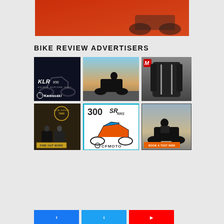[Figure (photo): Top banner advertisement with red/orange background showing motorcycle]
BIKE REVIEW ADVERTISERS
[Figure (photo): Kawasaki KLR650 advertisement - dark background with text 'KLR650 ESCAPE. EXPLORE. ENVY.' and Kawasaki logo]
[Figure (photo): Motorcycle rider on touring bike on desert road]
[Figure (photo): Motorcycle jacket advertisement with M logo on gray background]
[Figure (photo): Royal Enfield Twin advertisement with children on motorcycles and 'FIND OUT MORE' button]
[Figure (photo): CFMOTO 300SR RRS advertisement with orange and blue sport motorcycle on white background]
[Figure (photo): Harley-Davidson motorcycle advertisement with 'BOOK A TEST RIDE' orange button]